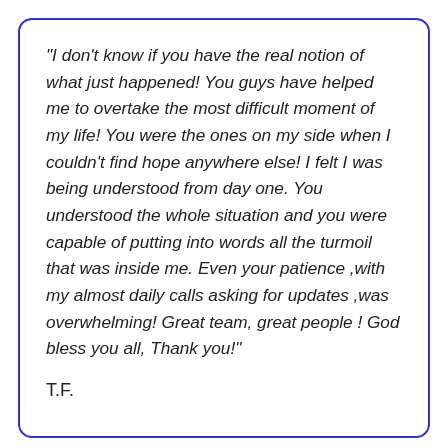"I don't know if you have the real notion of what just happened! You guys have helped me to overtake the most difficult moment of my life! You were the ones on my side when I couldn't find hope anywhere else! I felt I was being understood from day one. You understood the whole situation and you were capable of putting into words all the turmoil that was inside me. Even your patience ,with my almost daily calls asking for updates ,was overwhelming! Great team, great people ! God bless you all, Thank you!"
T.F.